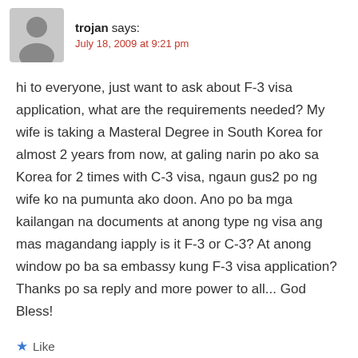trojan says:
July 18, 2009 at 9:21 pm
hi to everyone, just want to ask about F-3 visa application, what are the requirements needed? My wife is taking a Masteral Degree in South Korea for almost 2 years from now, at galing narin po ako sa Korea for 2 times with C-3 visa, ngaun gus2 po ng wife ko na pumunta ako doon. Ano po ba mga kailangan na documents at anong type ng visa ang mas magandang iapply is it F-3 or C-3? At anong window po ba sa embassy kung F-3 visa application? Thanks po sa reply and more power to all... God Bless!
Like
Reply